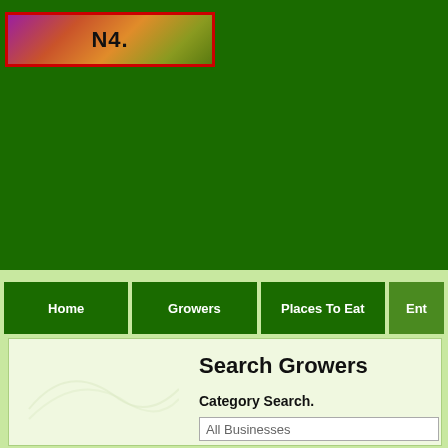[Figure (logo): Website logo banner with colorful gradient background and dark text initials, shown partially, with red border frame]
Home | Growers | Places To Eat | Ente...
Search Growers
Category Search.
All Businesses